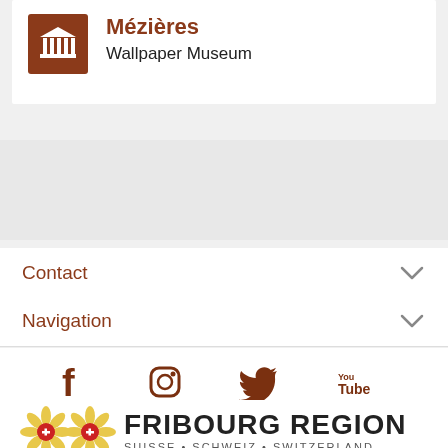[Figure (illustration): White card with brown museum/pillar icon and text: Mézières, Wallpaper Museum]
Mézières
Wallpaper Museum
Contact
Navigation
[Figure (infographic): Social media icons: Facebook, Instagram, Twitter, YouTube in brown color]
[Figure (logo): Fribourg Region logo with two edelweiss flowers and text: FRIBOURG REGION SUISSE • SCHWEIZ • SWITZERLAND]